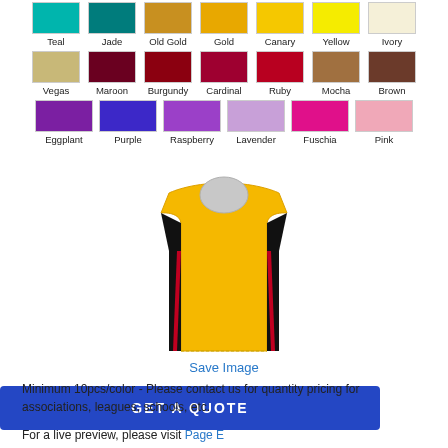[Figure (illustration): Color swatches grid row 1: Teal, Jade, Old Gold, Gold, Canary, Yellow, Ivory]
[Figure (illustration): Color swatches grid row 2: Vegas, Maroon, Burgundy, Cardinal, Ruby, Mocha, Brown]
[Figure (illustration): Color swatches grid row 3: Eggplant, Purple, Raspberry, Lavender, Fuschia, Pink]
[Figure (illustration): Basketball jersey illustration in gold/black/red colorway]
Save Image
GET A QUOTE
Minimum 10pcs/color - Please contact us for quantity pricing for associations, leagues, schools, etc.
For a live preview, please visit Page E